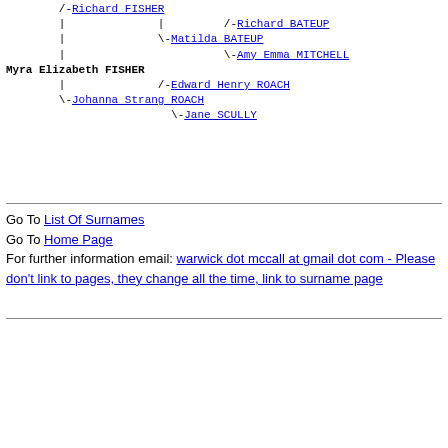/-Richard FISHER | | /-Richard BATEUP | \-Matilda BATEUP | \-Amy Emma MITCHELL Myra Elizabeth FISHER | /-Edward Henry ROACH \-Johanna Strang ROACH \-Jane SCULLY
Go To List Of Surnames
Go To Home Page
For further information email: warwick dot mccall at gmail dot com - Please don't link to pages, they change all the time, link to surname page